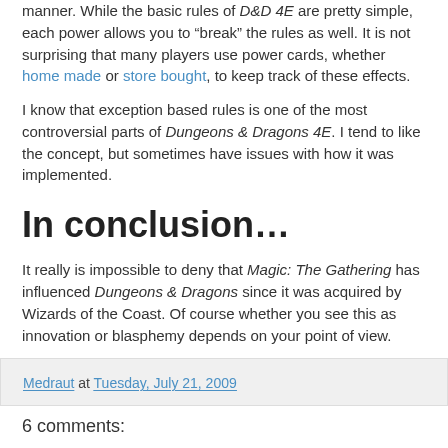manner. While the basic rules of D&D 4E are pretty simple, each power allows you to “break” the rules as well. It is not surprising that many players use power cards, whether home made or store bought, to keep track of these effects.
I know that exception based rules is one of the most controversial parts of Dungeons & Dragons 4E. I tend to like the concept, but sometimes have issues with how it was implemented.
In conclusion…
It really is impossible to deny that Magic: The Gathering has influenced Dungeons & Dragons since it was acquired by Wizards of the Coast. Of course whether you see this as innovation or blasphemy depends on your point of view.
Medraut at Tuesday, July 21, 2009
6 comments: